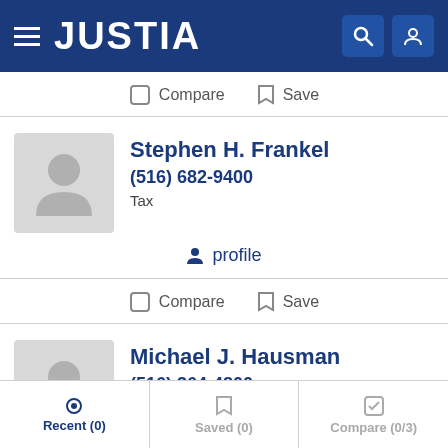JUSTIA
Compare  Save
Stephen H. Frankel
(516) 682-9400
Tax
profile
Compare  Save
Michael J. Hausman
(516) 364-4800
Tax, Business, Elder and Estate Planning
Recent (0)  Saved (0)  Compare (0/3)